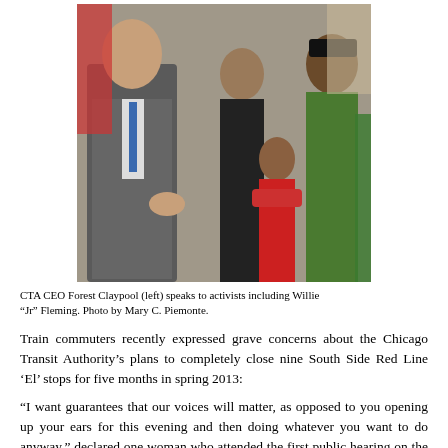[Figure (photo): CTA CEO Forest Claypool (left) speaks to activists including Willie 'Jr' Fleming. Photo by Mary C. Piemonte.]
CTA CEO Forest Claypool (left) speaks to activists including Willie “Jr” Fleming. Photo by Mary C. Piemonte.
Train commuters recently expressed grave concerns about the Chicago Transit Authority’s plans to completely close nine South Side Red Line ‘El’ stops for five months in spring 2013:
“I want guarantees that our voices will matter, as opposed to you opening up your ears for this evening and then doing whatever you want to do anyway,” declared one woman who attended the first public hearing on the CTA’s plans at Kennedy-King College Canvassing at 6343 S. Halsted Street, June 21, 2012. This